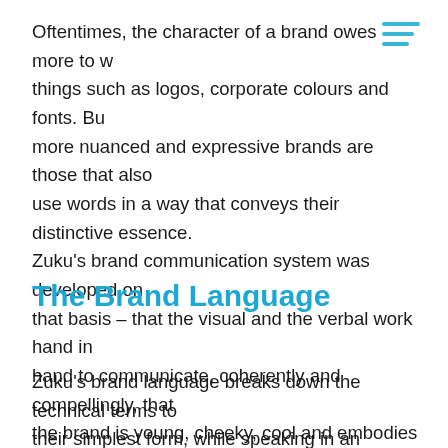Oftentimes, the character of a brand owes more to what things such as logos, corporate colours and fonts. But more nuanced and expressive brands are those that also use words in a way that conveys their distinctive essence. Zuku's brand communication system was developed on that basis – that the visual and the verbal work hand in hand to communicate, coherently and compellingly, that the brand is young, cheeky, cool and embodies the friendly guest who is welcomed into people's living-rooms.
The Brand Language
Zuku's brand language breaks down the technical terms to their simplest form, while speaking in an informal, chummy